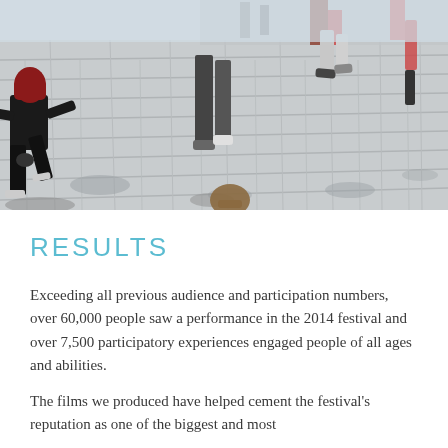[Figure (photo): Outdoor scene of people dancing and moving on a paved stone plaza in daylight. People are jumping, crouching, and walking. One woman in black is prominently in the foreground crouching low, others are visible mid-step or in motion. Strong shadows cast on pale stone paving.]
RESULTS
Exceeding all previous audience and participation numbers, over 60,000 people saw a performance in the 2014 festival and over 7,500 participatory experiences engaged people of all ages and abilities.
The films we produced have helped cement the festival's reputation as one of the biggest and most